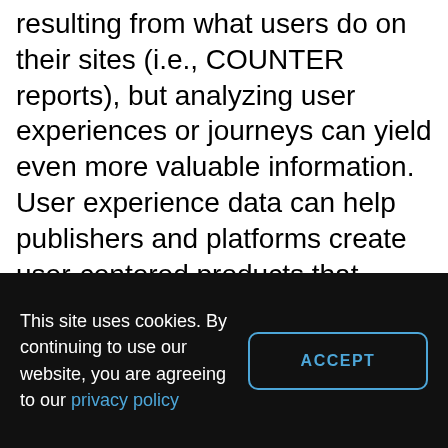resulting from what users do on their sites (i.e., COUNTER reports), but analyzing user experiences or journeys can yield even more valuable information. User experience data can help publishers and platforms create user-centered products that increase time on site (stickiness), reinforce brands and promote loyalty, and lead to more usage or conversions (i.e., newsletter sign-ups, PPV or permission
This site uses cookies. By continuing to use our website, you are agreeing to our privacy policy